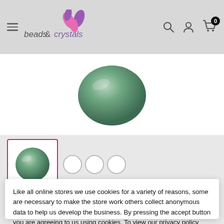beads & crystals — navigation header with hamburger menu, search, account, and cart icons
[Figure (photo): Green sage pearl bead shown from above, close-up product shot on white background]
[Figure (photo): Thumbnail of green sage pearl bead with pink/magenta border (selected state), plus two additional grey circle thumbnail placeholders]
Precious Pearl SAGE
Like all online stores we use cookies for a variety of reasons, some are necessary to make the store work others collect anonymous data to help us develop the business. By pressing the accept button you are agreeing to us using cookies. To view our privacy policy click here
Accept